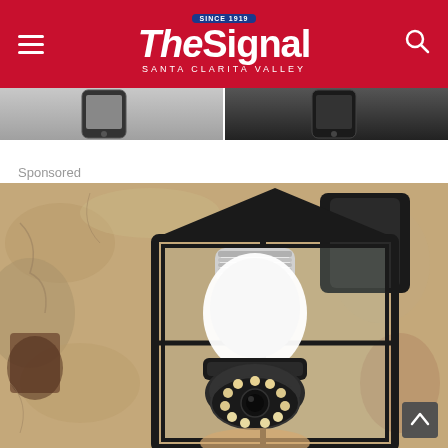The Signal — Santa Clarita Valley
[Figure (photo): Partial images of smartphones visible at top of page]
Sponsored
[Figure (photo): Outdoor wall-mounted lantern light fixture with a security camera bulb installed inside it, showing LED ring at the bottom, mounted on a textured stucco wall]